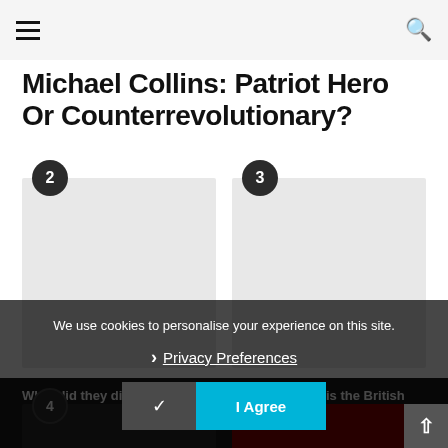Navigation menu and search icon
Michael Collins: Patriot Hero Or Counterrevolutionary?
[Figure (other): Card numbered 2 — light grey placeholder image]
[Figure (other): Card numbered 3 — light grey placeholder image]
What did they die for? – Part 2
Ukraine: What is the British Army Training For?
We use cookies to personalise your experience on this site.
Privacy Preferences
I Agree
[Figure (other): Card numbered 4 — dark image with overlaid text: Blood on their Hands, Blood at The Base / The Guilty Men Who Guilty The Guilty Men]
[Figure (other): Card numbered 5 — dark red placeholder]